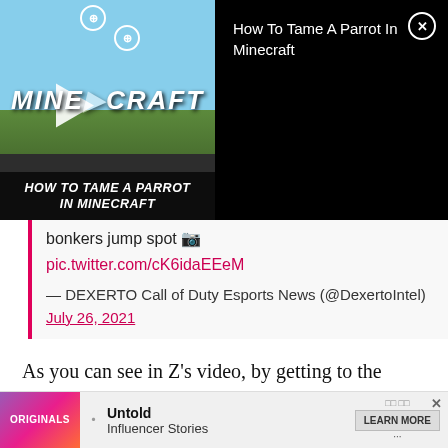[Figure (screenshot): Video overlay showing a Minecraft tutorial thumbnail on the left with play button and title 'HOW TO TAME A PARROT IN MINECRAFT', and on the right a black panel showing the text 'How To Tame A Parrot In Minecraft' with a close button.]
bonkers jump spot 📷
pic.twitter.com/cK6idaEEeM
— DEXERTO Call of Duty Esports News (@DexertoIntel) July 26, 2021
As you can see in Z's video, by getting to the upper-rightmost ledge facing PD, you can parachute onto one lamppost, skip to the next, and parachute into the top window of PD. It takes a total of about three seconds mies.
[Figure (screenshot): Advertisement banner at the bottom showing Originals logo, bullet point, 'Untold Influencer Stories' text, and a 'LEARN MORE' button with close X.]